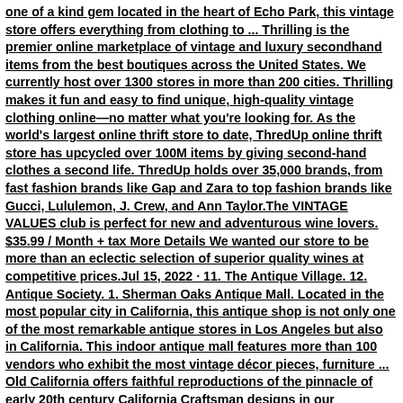one of a kind gem located in the heart of Echo Park, this vintage store offers everything from clothing to ... Thrilling is the premier online marketplace of vintage and luxury secondhand items from the best boutiques across the United States. We currently host over 1300 stores in more than 200 cities. Thrilling makes it fun and easy to find unique, high-quality vintage clothing online—no matter what you're looking for. As the world's largest online thrift store to date, ThredUp online thrift store has upcycled over 100M items by giving second-hand clothes a second life. ThredUp holds over 35,000 brands, from fast fashion brands like Gap and Zara to top fashion brands like Gucci, Lululemon, J. Crew, and Ann Taylor.The VINTAGE VALUES club is perfect for new and adventurous wine lovers. $35.99 / Month + tax More Details We wanted our store to be more than an eclectic selection of superior quality wines at competitive prices.Jul 15, 2022 · 11. The Antique Village. 12. Antique Society. 1. Sherman Oaks Antique Mall. Located in the most popular city in California, this antique shop is not only one of the most remarkable antique stores in Los Angeles but also in California. This indoor antique mall features more than 100 vendors who exhibit the most vintage décor pieces, furniture ... Old California offers faithful reproductions of the pinnacle of early 20th century California Craftsman designs in our Wentworth Avenue collection. The best of Greene and Greene's historic